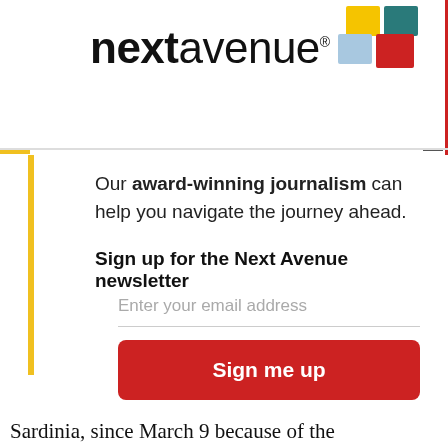[Figure (logo): Next Avenue logo with colorful squares and brand name]
Our award-winning journalism can help you navigate the journey ahead.
Sign up for the Next Avenue newsletter
Enter your email address
Sign me up
No thanks
Sardinia, since March 9 because of the